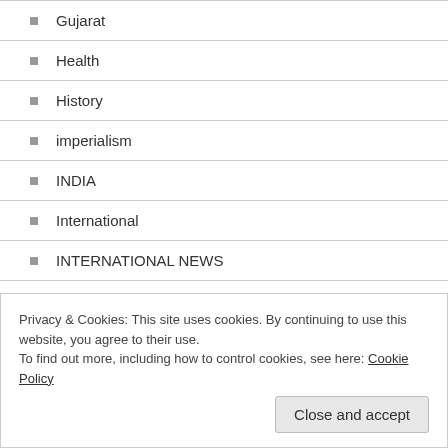Gujarat
Health
History
imperialism
INDIA
International
INTERNATIONAL NEWS
Japan
Latin America
Left politics
Literature.
Privacy & Cookies: This site uses cookies. By continuing to use this website, you agree to their use.
To find out more, including how to control cookies, see here: Cookie Policy
Close and accept